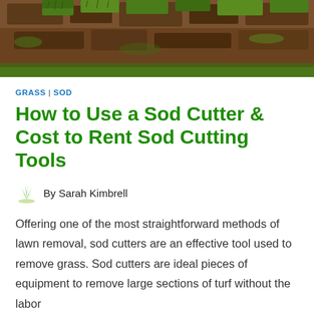[Figure (photo): Aerial view of sod strips laid on dark soil, showing rolls of grass being installed on a lawn.]
GRASS | SOD
How to Use a Sod Cutter & Cost to Rent Sod Cutting Tools
By Sarah Kimbrell
Offering one of the most straightforward methods of lawn removal, sod cutters are an effective tool used to remove grass. Sod cutters are ideal pieces of equipment to remove large sections of turf without the labor